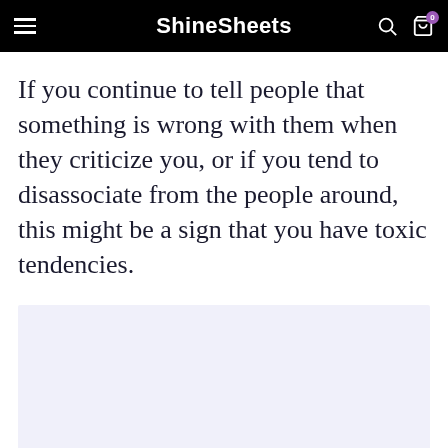ShineSheets
If you continue to tell people that something is wrong with them when they criticize you, or if you tend to disassociate from the people around, this might be a sign that you have toxic tendencies.
[Figure (other): Advertisement placeholder block with light lavender background]